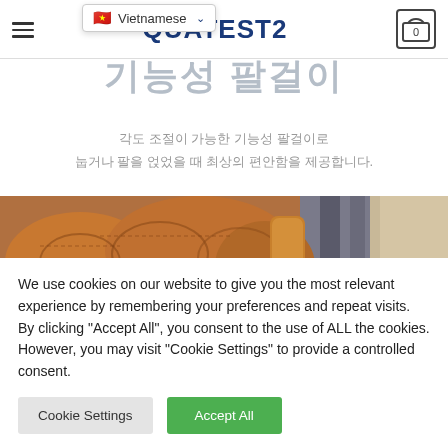QUATEST2
기능성 팔걸이
각도 조절이 가능한 기능성 팔걸이로
눕거나 팔을 얹었을 때 최상의 편안함을 제공합니다.
[Figure (photo): Close-up photo of a brown leather sofa armrest with tufted cushion details]
We use cookies on our website to give you the most relevant experience by remembering your preferences and repeat visits. By clicking "Accept All", you consent to the use of ALL the cookies. However, you may visit "Cookie Settings" to provide a controlled consent.